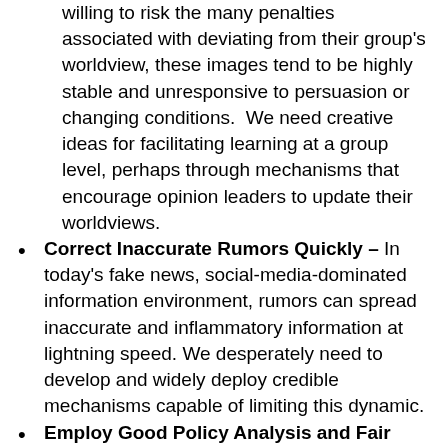willing to risk the many penalties associated with deviating from their group's worldview, these images tend to be highly stable and unresponsive to persuasion or changing conditions.  We need creative ideas for facilitating learning at a group level, perhaps through mechanisms that encourage opinion leaders to update their worldviews.
Correct Inaccurate Rumors Quickly – In today's fake news, social-media-dominated information environment, rumors can spread inaccurate and inflammatory information at lightning speed. We desperately need to develop and widely deploy credible mechanisms capable of limiting this dynamic.
Employ Good Policy Analysis and Fair Marketing – Advocates and policy makers need to base their campaigns on sound policy analysis and present their ideas with the persuasive, yet honest, marketing strategies.  We need to resist the